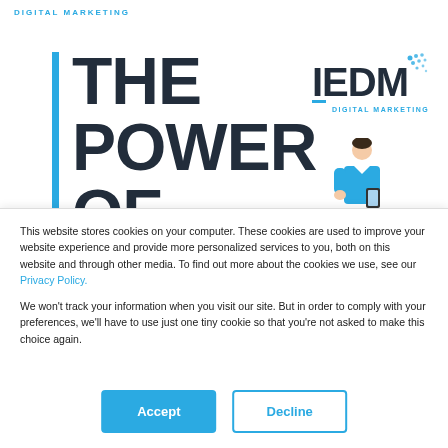DIGITAL MARKETING
THE POWER OF
[Figure (logo): IEDM Digital Marketing logo with blue dot-grid graphic and text 'IEDM DIGITAL MARKETING']
[Figure (illustration): Person in blue shirt looking at phone]
This website stores cookies on your computer. These cookies are used to improve your website experience and provide more personalized services to you, both on this website and through other media. To find out more about the cookies we use, see our Privacy Policy.
We won't track your information when you visit our site. But in order to comply with your preferences, we'll have to use just one tiny cookie so that you're not asked to make this choice again.